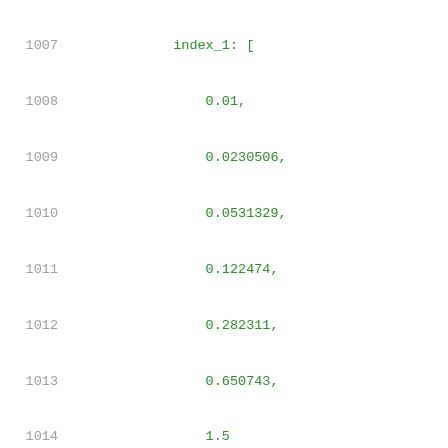Code listing lines 1007-1028 showing JSON array data with index_1, index_2, and values keys containing numeric arrays
1007: index_1: [
1008:     0.01,
1009:     0.0230506,
1010:     0.0531329,
1011:     0.122474,
1012:     0.282311,
1013:     0.650743,
1014:     1.5
1015: ],
1016: "index_2": [
1017:     0.0005,
1018:     0.0013352,
1019:     0.0035653,
1020:     0.0095206,
1021:     0.0254232,
1022:     0.0678882,
1023:     0.181284
1024: ],
1025: "values": [
1026:     [
1027:         0.0710424,
1028:         0.075087,